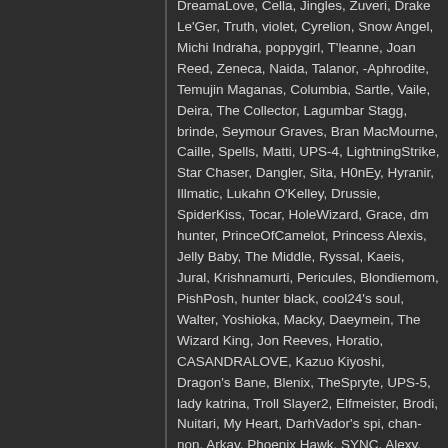DreamaLove, Cella, Jingles, Zuveri, Drake Le'Ger, Truth, violet, Cyrelion, Snow Angel, Michi Indraha, poppygirl, T'leanne, Joan Reed, Zeneca, Naida, Talanor, -Aphrodite, Temujin Maganas, Columbia, Sartle, Vaile, Deira, The Collector, Lagumbar Stagg, brinde, Seymour Graves, Bran MacMourne, Caille, Spells, Matti, UPS-4, LightningStrike, Star Chaser, Dangler, Sita, H0nEy, Hyranir, Illmatic, Lukahn O'Kelley, Drussie, SpiderKiss, Tocar, HoleWizard, Grace, dm hunter, PrinceOfCamelot, Princess Alexis, Jelly Baby, The Middle, Ryssal, Kaeis, Jural, Krishnamurti, Pericules, Blondiemom, PishPosh, hunter black, cool24's soul, Walter, Yoshioka, Macky, Daeymein, The Wizard King, Jon Reeves, Horatio, CASANDRALOVE, Kazuo Kiyoshi, Dragon's Bane, Blenix, TheSpryte, UPS-5, lady katrina, Troll Slayer2, Elfmeister, Brodi, Nuitari, My Heart, DarhVador's spi, chan-non, Arkay, Phoenix Hawk, SYNC, Alexy, Trent Chaos, Lady Celes, PuppetStone, Onyx Nightblade, Snake Shadow, Sivanthe, Gol, Jabby, Liea, cassava